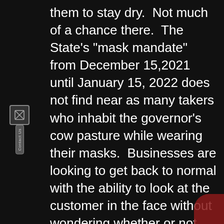them to stay dry.  Not much of a chance there.  The State's "mask mandate" from December 15,2021 until January 15, 2022 does not find near as many takers who inhabit the governor's cow pasture while wearing their masks.  Businesses are looking to get back to normal with the ability to look at the customer in the face without wondering whether or not this was a hold up.

It has become almost tiresome to repeat that science does not find any value in masking to prevent transmission or reception of viruses